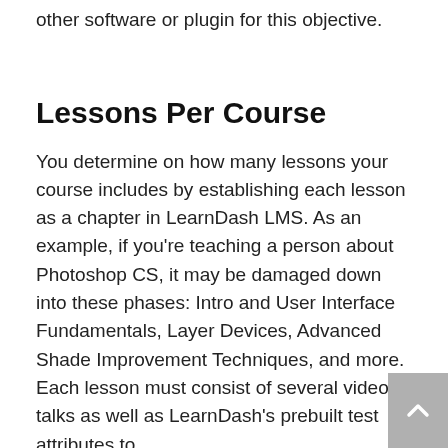other software or plugin for this objective.
Lessons Per Course
You determine on how many lessons your course includes by establishing each lesson as a chapter in LearnDash LMS. As an example, if you're teaching a person about Photoshop CS, it may be damaged down into these phases: Intro and User Interface Fundamentals, Layer Devices, Advanced Shade Improvement Techniques, and more. Each lesson must consist of several video talks as well as LearnDash's prebuilt test attributes to